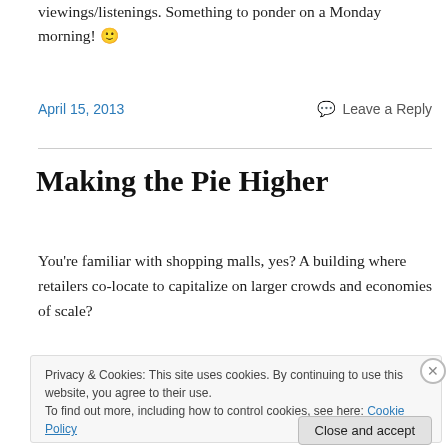viewings/listenings. Something to ponder on a Monday morning! 🙂
April 15, 2013   Leave a Reply
Making the Pie Higher
You're familiar with shopping malls, yes? A building where retailers co-locate to capitalize on larger crowds and economies of scale?
Privacy & Cookies: This site uses cookies. By continuing to use this website, you agree to their use.
To find out more, including how to control cookies, see here: Cookie Policy
Close and accept